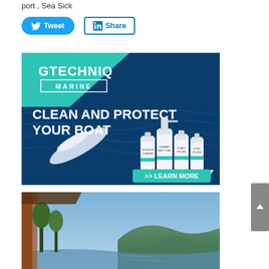port , Sea Sick
[Figure (infographic): Twitter Tweet button (blue rounded) and LinkedIn Share button (outlined teal/blue)]
[Figure (infographic): Gtechniq Marine advertisement banner: teal and dark blue design with boat aerial photo and product bottles. Text: GTECHNIQ MARINE, CLEAN AND PROTECT YOUR BOAT, >> LEARN MORE]
[Figure (photo): Partial view of a scenic outdoor location with trees, wooden structure frame and blue sky/water in background]